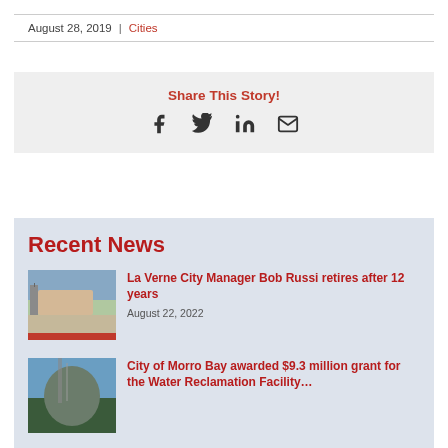August 28, 2019 | Cities
Share This Story!
Facebook Twitter LinkedIn Email
Recent News
La Verne City Manager Bob Russi retires after 12 years
August 22, 2022
City of Morro Bay awarded $9.3 million grant for the Water Reclamation Facility…